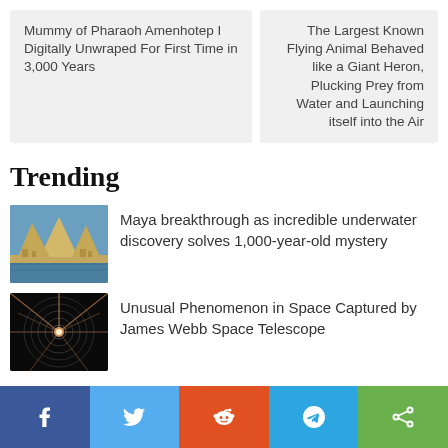Mummy of Pharaoh Amenhotep I Digitally Unwraped For First Time in 3,000 Years
The Largest Known Flying Animal Behaved like a Giant Heron, Plucking Prey from Water and Launching itself into the Air
Trending
Maya breakthrough as incredible underwater discovery solves 1,000-year-old mystery
[Figure (illustration): Artistic rendering of a Maya city with pyramids near water]
Unusual Phenomenon in Space Captured by James Webb Space Telescope
[Figure (photo): Dark space image with bright light rays emanating from center]